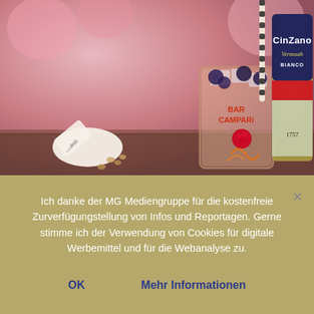[Figure (photo): Photo of Bar Campari cocktail glass with berries and striped straw, alongside a Cinzano Vermouth Bianco bottle, pink blurred background]
Ich danke der MG Mediengruppe für die kostenfreie Zurverfügungstellung von Infos und Reportagen. Gerne stimme ich der Verwendung von Cookies für digitale Werbemittel und für die Webanalyse zu.
OK
Mehr Informationen